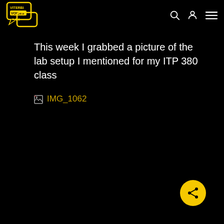Viterbi Voices
This week I grabbed a picture of the lab setup I mentioned for my ITP 380 class
[Figure (photo): Broken image placeholder showing 'IMG_1062' label in gold/yellow text with a broken image icon]
[Figure (other): Yellow circular share button in bottom right corner]